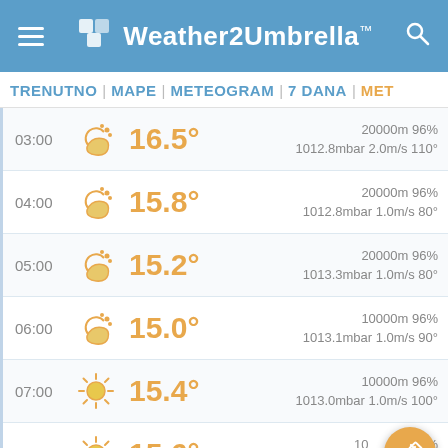[Figure (screenshot): Weather2Umbrella app header bar with hamburger menu, logo, and search icon on blue background]
TRENUTNO | MAPE | METEOGRAM | 7 DANA | MET
| Time | Icon | Temperature | Details |
| --- | --- | --- | --- |
| 03:00 | night-cloudy | 16.5° | 20000m 96%
1012.8mbar 2.0m/s 110° |
| 04:00 | night-cloudy | 15.8° | 20000m 96%
1012.8mbar 1.0m/s 80° |
| 05:00 | night-cloudy | 15.2° | 20000m 96%
1013.3mbar 1.0m/s 80° |
| 06:00 | night-cloudy | 15.0° | 10000m 96%
1013.1mbar 1.0m/s 90° |
| 07:00 | sunny | 15.4° | 10000m 96%
1013.0mbar 1.0m/s 100° |
| 08:00 | sunny | 15.6° | 10___m ___% 
1012.9mbar 1.0m/s 110° |